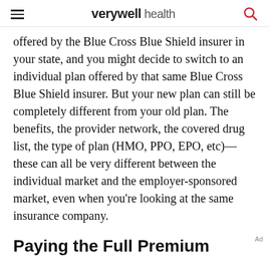verywell health
offered by the Blue Cross Blue Shield insurer in your state, and you might decide to switch to an individual plan offered by that same Blue Cross Blue Shield insurer. But your new plan can still be completely different from your old plan. The benefits, the provider network, the covered drug list, the type of plan (HMO, PPO, EPO, etc)—these can all be very different between the individual market and the employer-sponsored market, even when you're looking at the same insurance company.
Paying the Full Premium